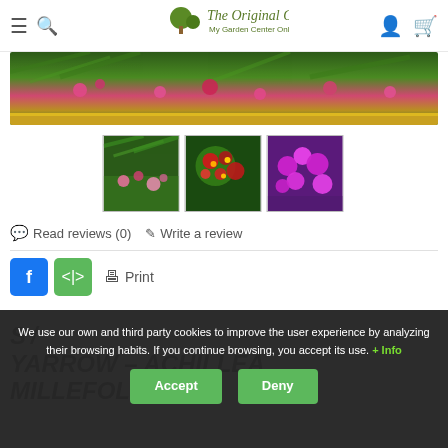The Original Garden — My Garden Center Online
[Figure (photo): Main banner photo showing pink flowers with green foliage and yellow wooden border at bottom]
[Figure (photo): Three thumbnail photos of flowering plants: pink dianthus ground cover, red and green berries close-up, and bright magenta/pink flowers]
Read reviews (0)   Write a review
Print
We use our own and third party cookies to improve the user experience by analyzing their browsing habits. If you continue browsing, you accept its use. + Info
YARROW - ACHILLEA MILLEFOLIUM R